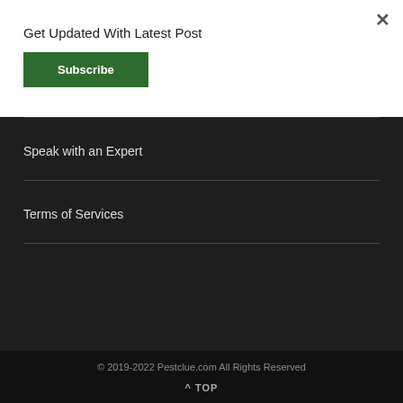Get Updated With Latest Post
Subscribe
×
Speak with an Expert
Terms of Services
© 2019-2022 Pestclue.com All Rights Reserved
^ TOP